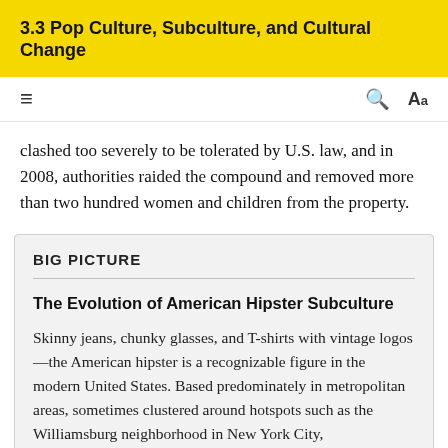3.3 Pop Culture, Subculture, and Cultural Change
clashed too severely to be tolerated by U.S. law, and in 2008, authorities raided the compound and removed more than two hundred women and children from the property.
BIG PICTURE
The Evolution of American Hipster Subculture
Skinny jeans, chunky glasses, and T-shirts with vintage logos—the American hipster is a recognizable figure in the modern United States. Based predominately in metropolitan areas, sometimes clustered around hotspots such as the Williamsburg neighborhood in New York City,